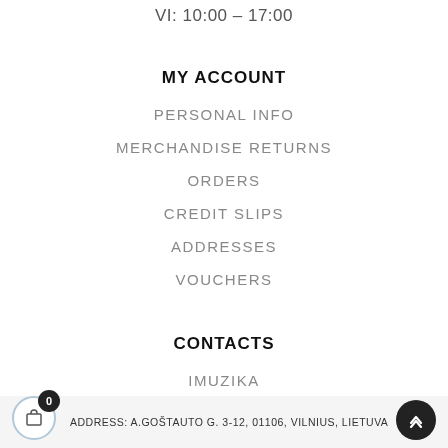VI: 10:00 – 17:00
MY ACCOUNT
PERSONAL INFO
MERCHANDISE RETURNS
ORDERS
CREDIT SLIPS
ADDRESSES
VOUCHERS
CONTACTS
IMUZIKA
ADDRESS: A.GOŠTAUTO G. 3-12, 01106, VILNIUS, LIETUVA